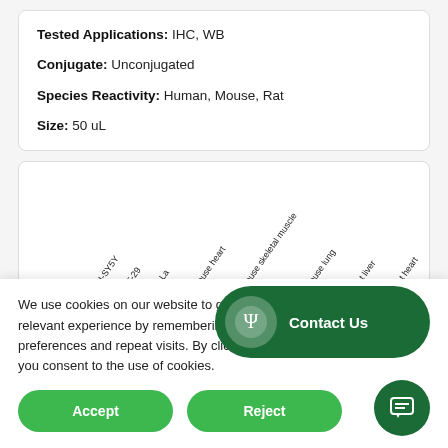Tested Applications: IHC, WB
Conjugate: Unconjugated
Species Reactivity: Human, Mouse, Rat
Size: 50 uL
[Figure (other): Partial western blot image showing rotated x-axis labels: SH-SY5Y, HT-29, HeLa, Mouse heart, Mouse skeletal muscle, Mouse lung, Rat liver, Rat heart]
We use cookies on our website to give you the most relevant experience by remembering your preferences and repeat visits. By clicking “Accept”, you consent to the use of cookies.
Accept
Reject
Contact Us